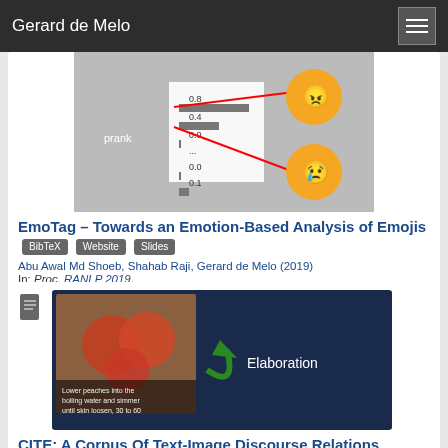Gerard de Melo
[Figure (screenshot): Screenshot of emoji analysis showing a bar chart with values 0.8, 0.4, 0.0, 0.0, 0.1 next to the word 'prank', with angry and crying emoji faces, and red arrows pointing to emojis.]
EmoTag – Towards an Emotion-Based Analysis of Emojis
Abu Awal Md Shoeb, Shahab Raji, Gerard de Melo (2019)
In: Proc. RANLP 2019.
Acceptance rate: 8.7% (Long Presentation Papers)
[Figure (screenshot): Screenshot showing peaches being lowered into boiling water with text 'Lower peaches into the boiling water and simmer until skin loosen, 30 to 60 seconds.' and a green arrow labeled 'Elaboration' on a dark blue background.]
CITE: A Corpus Of Text-Image Discourse Relations